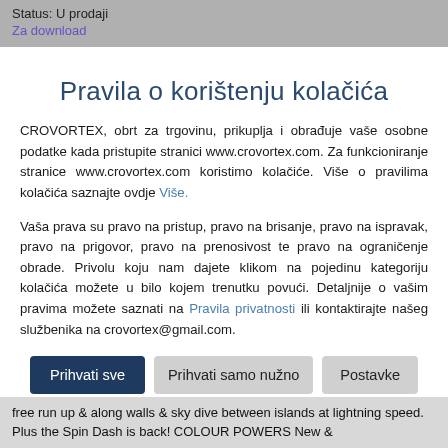Status: U prodaji
Za download
Pravila o korištenju kolačića
CROVORTEX, obrt za trgovinu, prikuplja i obrađuje vaše osobne podatke kada pristupite stranici www.crovortex.com. Za funkcioniranje stranice www.crovortex.com koristimo kolačiće. Više o pravilima kolačića saznajte ovdje Više.
Vaša prava su pravo na pristup, pravo na brisanje, pravo na ispravak, pravo na prigovor, pravo na prenosivost te pravo na ograničenje obrade. Privolu koju nam dajete klikom na pojedinu kategoriju kolačića možete u bilo kojem trenutku povući. Detaljnije o vašim pravima možete saznati na Pravila privatnosti ili kontaktirajte našeg službenika na crovortex@gmail.com.
Prihvati sve | Prihvati samo nužno | Postavke
free run up & along walls & sky dive between islands at lightning speed. Plus the Spin Dash is back! COLOUR POWERS New &